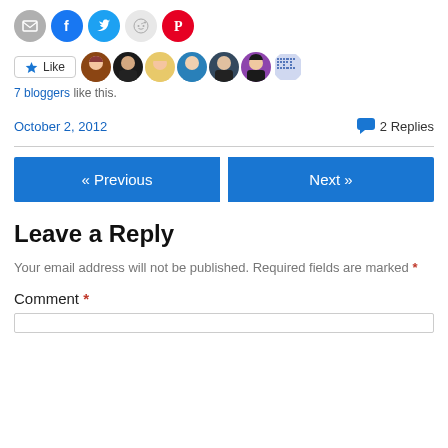[Figure (infographic): Social sharing icons: email (grey), Facebook (blue), Twitter (cyan), Reddit (light grey), Pinterest (red) as circles]
[Figure (infographic): Like button with star icon followed by 6 blogger avatar thumbnails and a dotted avatar grid icon]
7 bloggers like this.
October 2, 2012
2 Replies
« Previous
Next »
Leave a Reply
Your email address will not be published. Required fields are marked *
Comment *